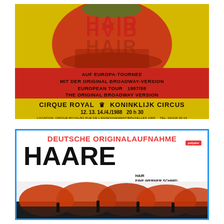[Figure (illustration): Concert poster for HAIR musical - European Tour 1987/88. Yellow and red background with illustrated figures and 'HAIR' title. Shows performances at Cirque Royal / Koninklijk Circus on 12, 13, 14 April 1988 at 20:30. Text includes 'AUF EUROPA-TOURNEE MIT DER ORIGINAL BROADWAY-VERSION EUROPEAN TOUR 1987/88 THE ORIGINAL BROADWAY VERSION']
[Figure (illustration): Record/album cover for 'HAARE' (HAIR) - Deutsche Originalaufnahme. White background with blue border. Large black 'HAARE' title, red subtitle 'DEUTSCHE ORIGINALAUFNAHME', Polydor label badge. Small text 'HAIR Eine Werner Schmid und Bertrand Castelli Produktion'. Bottom shows crowd scene with red/orange afro-style hair imagery.]